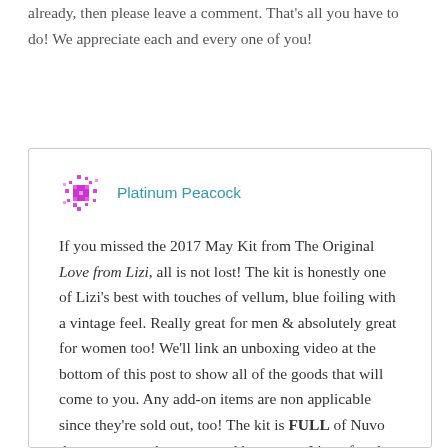already, then please leave a comment. That's all you have to do! We appreciate each and every one of you!
Platinum Peacock
If you missed the 2017 May Kit from The Original Love from Lizi, all is not lost! The kit is honestly one of Lizi's best with touches of vellum, blue foiling with a vintage feel. Really great for men & absolutely great for women too! We'll link an unboxing video at the bottom of this post to show all of the goods that will come to you. Any add-on items are non applicable since they're sold out, too! The kit is FULL of Nuvo drops, patterned papers, card bases, etc. It's so fun that it took